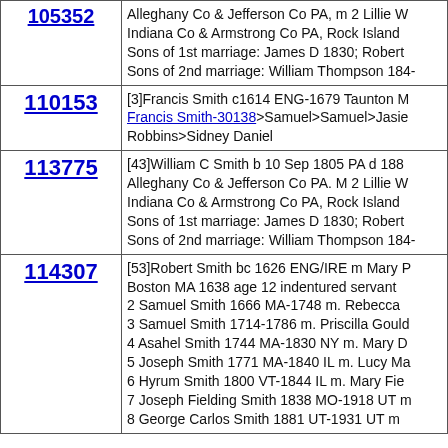| ID | Description |
| --- | --- |
| 105352 | Alleghany Co & Jefferson Co PA, m 2 Lillie W Indiana Co & Armstrong Co PA, Rock Island Sons of 1st marriage: James D 1830; Robert Sons of 2nd marriage: William Thompson 184- |
| 110153 | [3]Francis Smith c1614 ENG-1679 Taunton M Francis Smith-30138>Samuel>Samuel>Jasie Robbins>Sidney Daniel |
| 113775 | [43]William C Smith b 10 Sep 1805 PA d 188 Alleghany Co & Jefferson Co PA. M 2 Lillie W Indiana Co & Armstrong Co PA, Rock Island Sons of 1st marriage: James D 1830; Robert Sons of 2nd marriage: William Thompson 184- |
| 114307 | [53]Robert Smith bc 1626 ENG/IRE m Mary P Boston MA 1638 age 12 indentured servant 2 Samuel Smith 1666 MA-1748 m. Rebecca 3 Samuel Smith 1714-1786 m. Priscilla Gould 4 Asahel Smith 1744 MA-1830 NY m. Mary D 5 Joseph Smith 1771 MA-1840 IL m. Lucy Ma 6 Hyrum Smith 1800 VT-1844 IL m. Mary Fie 7 Joseph Fielding Smith 1838 MO-1918 UT m 8 George Carlos Smith 1881 UT-1931 UT m |